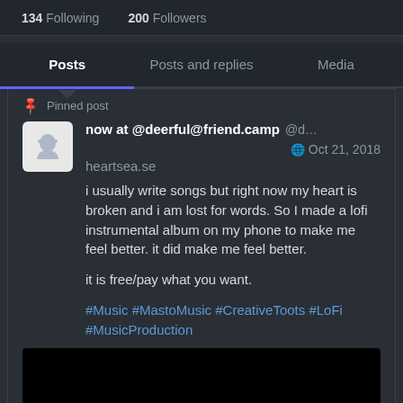134 Following   200 Followers
Posts | Posts and replies | Media
Pinned post
now at @deerful@friend.camp @d… Oct 21, 2018
heartsea.se

i usually write songs but right now my heart is broken and i am lost for words. So I made a lofi instrumental album on my phone to make me feel better. it did make me feel better.

it is free/pay what you want.

#Music #MastoMusic #CreativeToots #LoFi #MusicProduction
[Figure (screenshot): Black media preview area at bottom]